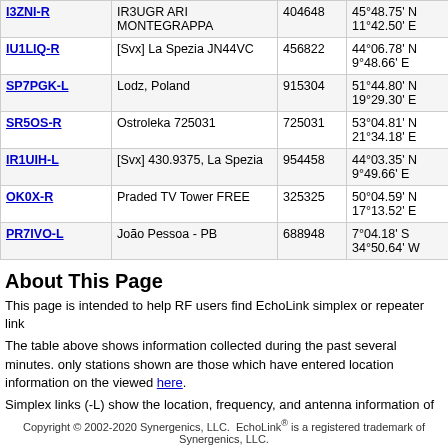| Callsign | Location | Node | Coordinates | Grid | Freq |
| --- | --- | --- | --- | --- | --- |
| I3ZNI-R | IR3UGR ARI MONTEGRAPPA | 404648 | 45°48.75' N 11°42.50' E | JN55ut | 4976.9 |
| IU1LIQ-R | [Svx] La Spezia JN44VC | 456822 | 44°06.78' N 9°48.66' E | JN44vc | 4977.8 |
| SP7PGK-L | Lodz, Poland | 915304 | 51°44.80' N 19°29.30' E | JO91rr | 4979.1 |
| SR5OS-R | Ostroleka 725031 | 725031 | 53°04.81' N 21°34.18' E | KO03sb | 4980.8 |
| IR1UIH-L | [Svx] 430.9375, La Spezia | 954458 | 44°03.35' N 9°49.66' E | JN44vb | 4980.9 |
| OK0X-R | Praded TV Tower FREE | 325325 | 50°04.59' N 17°13.52' E | JO80ob | 4982.4 |
| PR7IVO-L | João Pessoa - PB | 688948 | 7°04.18' S 34°50.64' W | HI22nw | 4983.0 |
About This Page
This page is intended to help RF users find EchoLink simplex or repeater link
The table above shows information collected during the past several minutes. only stations shown are those which have entered location information on the viewed here.
Simplex links (-L) show the location, frequency, and antenna information of th and antenna information of the repeater it serves. The values in the Power, H
Copyright © 2002-2020 Synergenics, LLC.  EchoLink® is a registered trademark of Synergenics, LLC.